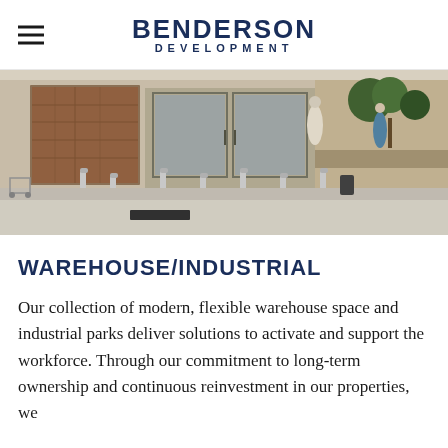BENDERSON DEVELOPMENT
[Figure (photo): Exterior photo of a commercial retail building entrance with bollards, stone facade, automatic doors, and palm trees. A parking area is visible in the foreground.]
WAREHOUSE/INDUSTRIAL
Our collection of modern, flexible warehouse space and industrial parks deliver solutions to activate and support the workforce. Through our commitment to long-term ownership and continuous reinvestment in our properties, we